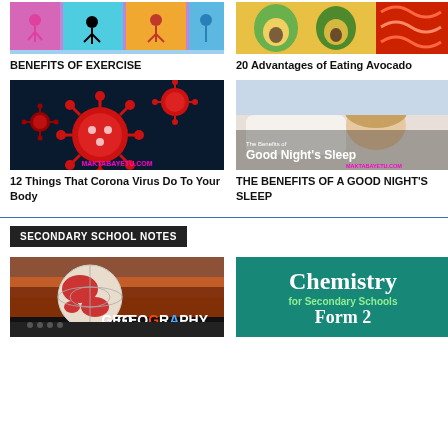[Figure (photo): Benefits of Exercise thumbnail showing people exercising with colorful panels]
BENEFITS OF EXERCISE
[Figure (photo): 20 Advantages of Eating Avocado thumbnail showing avocados and colorful food]
20 Advantages of Eating Avocado
[Figure (photo): 12 Things That Corona Virus Do To Your Body - red coronavirus illustration with MAKTABAYETU.COM text]
12 Things That Corona Virus Do To Your Body
[Figure (photo): The Benefits of Good Night's Sleep - woman sleeping with MAKTABAYETU.COM branding]
THE BENEFITS OF A GOOD NIGHT'S SLEEP
SECONDARY SCHOOL NOTES
[Figure (photo): Geography thumbnail with globe and GEOGRAPHY text in colorful letters]
[Figure (photo): Chemistry for Secondary Schools Form 2 book cover in teal]